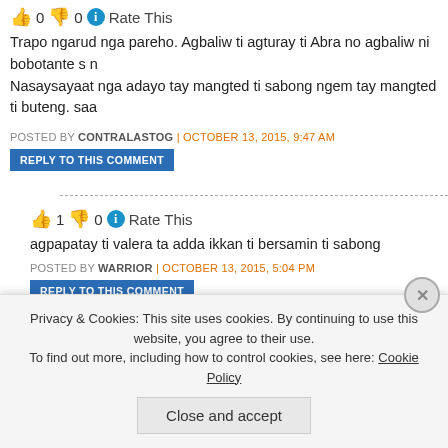👍 0 👎 0 ℹ Rate This
Trapo ngarud nga pareho. Agbaliw ti agturay ti Abra no agbaliw ni bobotante s n Nasaysayaat nga adayo tay mangted ti sabong ngem tay mangted ti buteng. saa
POSTED BY CONTRALASTOG | OCTOBER 13, 2015, 9:47 AM
REPLY TO THIS COMMENT
👍 1 👎 0 ℹ Rate This
agpapatay ti valera ta adda ikkan ti bersamin ti sabong
POSTED BY WARRIOR | OCTOBER 13, 2015, 5:04 PM
REPLY TO THIS COMMENT
👍 0 👎 0 ℹ Rate This
Nasaysayaat nga adayo tay adut projectna ( bersamin) sapay la mangted ti
Privacy & Cookies: This site uses cookies. By continuing to use this website, you agree to their use. To find out more, including how to control cookies, see here: Cookie Policy
Close and accept